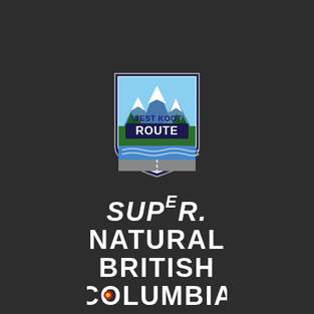[Figure (logo): West Koot Route shield logo with mountain peaks, green trees, river and road at bottom, blue and white color scheme]
[Figure (logo): Super. Natural British Columbia tourism logo in white stylized text on dark background]